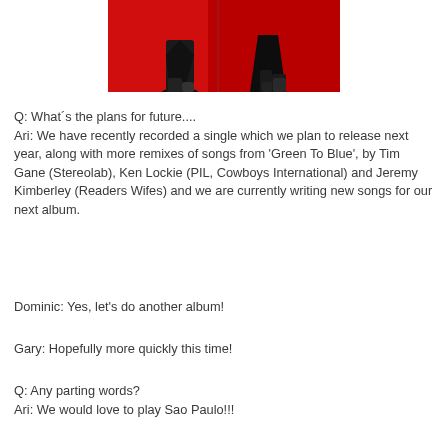[Figure (photo): Partial photo showing two figures/silhouettes against a red background, appears to be performers on stage, only lower bodies visible]
Q: What´s the plans for future....
Ari: We have recently recorded a single which we plan to release next year, along with more remixes of songs from 'Green To Blue', by Tim Gane (Stereolab), Ken Lockie (PIL, Cowboys International) and Jeremy Kimberley (Readers Wifes) and we are currently writing new songs for our next album.
Dominic: Yes, let's do another album!
Gary: Hopefully more quickly this time!
Q: Any parting words?
Ari: We would love to play Sao Paulo!!!